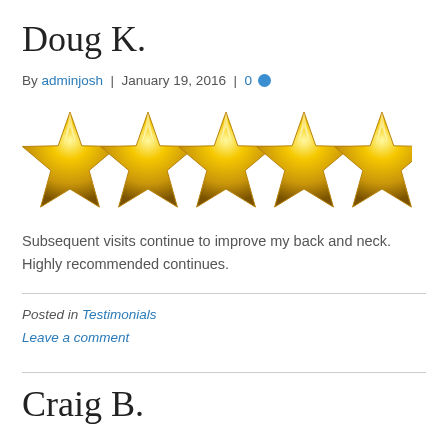Doug K.
By adminjosh | January 19, 2016 | 0
[Figure (illustration): Five gold 3D stars in a row indicating a 5-star rating]
Subsequent visits continue to improve my back and neck. Highly recommended continues.
Posted in Testimonials
Leave a comment
Craig B.